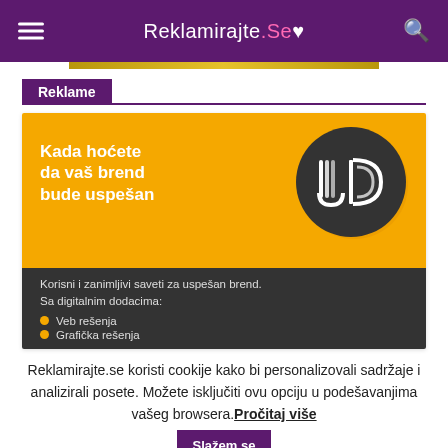Reklamirajte.Se
Reklame
[Figure (illustration): Advertisement banner for JD brand with orange background, JD logo in dark circle, text 'Kada hoćete da vaš brend bude uspešan', dark bottom section listing 'Korisni i zanimljivi saveti za uspešan brend. Sa digitalnim dodacima:' with bullet points 'Veb rešenja' and 'Grafička rešenja']
Reklamirajte.se koristi cookije kako bi personalizovali sadržaje i analizirali posete. Možete isključiti ovu opciju u podešavanjima vašeg browsera. Pročitaj više  Slažem se